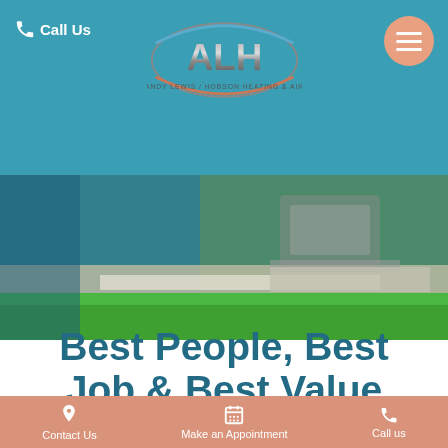Call Us
[Figure (logo): ALH - Andy Lewis / Hobson Heating & Air logo, oval shaped with metallic letters ALH and curved lines]
[Figure (photo): Outdoor photo showing green grass lawn, white gravel border, and an outdoor HVAC unit in the background, with teal blue overlay on left side]
Best People, Best Job & Best Value
Contact Us   Make an Appointment   Call us